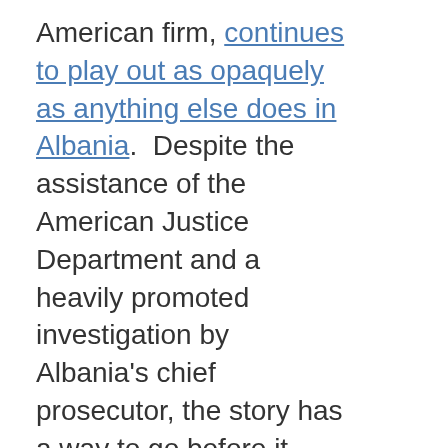American firm, continues to play out as opaquely as anything else does in Albania.  Despite the assistance of the American Justice Department and a heavily promoted investigation by Albania's chief prosecutor, the story has a way to go before it beats out the controversial spotlight on weird American laws that prohibit American military contractors from using Chinese made ammo--most of the people who